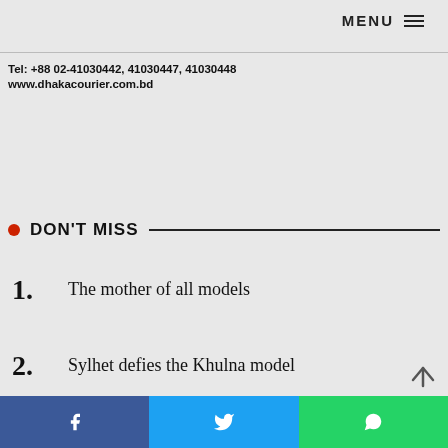MENU
Tel: +88 02-41030442, 41030447, 41030448
www.dhakacourier.com.bd
DON'T MISS
1. The mother of all models
2. Sylhet defies the Khulna model